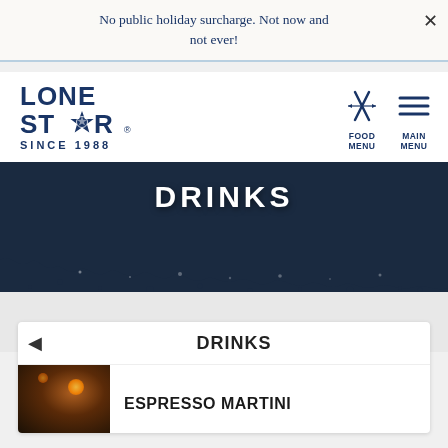No public holiday surcharge. Not now and not ever!
[Figure (logo): Lone Star Since 1988 logo with star emblem, navy blue]
[Figure (infographic): Food Menu icon: crossed fork and arrow utensils, navy blue]
[Figure (infographic): Main Menu icon: three horizontal lines (hamburger menu), navy blue]
DRINKS
DRINKS
ESPRESSO MARTINI